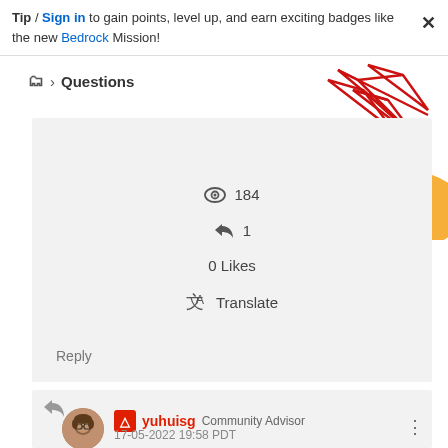Tip / Sign in to gain points, level up, and earn exciting badges like the new Bedrock Mission!
Questions
[Figure (illustration): Decorative geometric graphic with red triangular shapes and orange oval, top-right corner]
184 views, 1 reply, 0 Likes, Translate
Reply
yuhuisg  Community Advisor  17-05-2022 19:58 PDT  In response to sweetv10